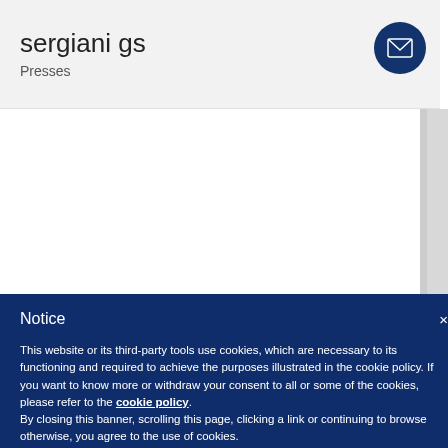sergiani gs
Presses
[Figure (other): White content area with scrollbar on right side]
Notice
This website or its third-party tools use cookies, which are necessary to its functioning and required to achieve the purposes illustrated in the cookie policy. If you want to know more or withdraw your consent to all or some of the cookies, please refer to the cookie policy.
By closing this banner, scrolling this page, clicking a link or continuing to browse otherwise, you agree to the use of cookies.